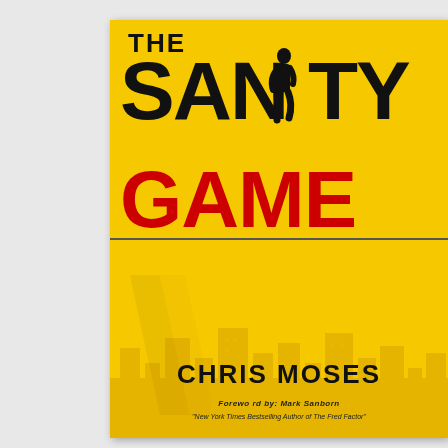[Figure (illustration): Book cover for 'The Sanity Game' by Chris Moses. Yellow background with large bold black text reading 'THE SANITY GAME' with 'GAME' in red, a silhouette of a running man incorporated into the letters, subtitle 'CUT THE CRAP THAT DRIVES EMPLOYEES CRAZY' with 'CUT THE CRAP' in red, city skyline in background, and author name 'CHRIS MOSES' at bottom with foreword credit to Mark Sanborn.]